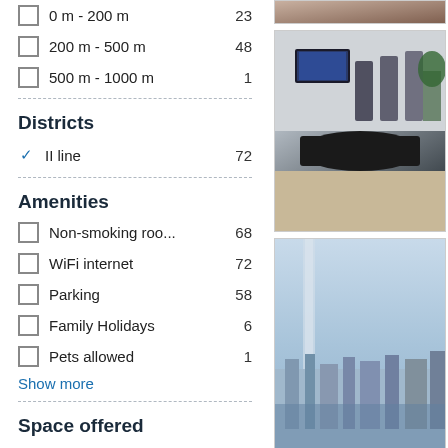0 m - 200 m    23
200 m - 500 m    48
500 m - 1000 m    1
Districts
II line    72
Amenities
Non-smoking roo...    68
WiFi internet    72
Parking    58
Family Holidays    6
Pets allowed    1
Show more
Space offered
[Figure (photo): Partial view of a room with reddish-brown tones at the top right]
[Figure (photo): Interior photo of a dining area with dark table, chairs, and wall-mounted TV]
[Figure (photo): Exterior/balcony photo showing city skyline and glass railing]